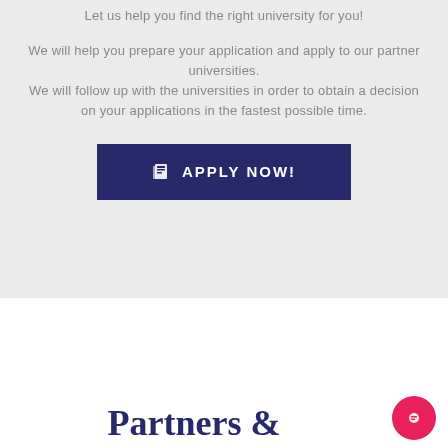Let us help you find the right university for you!
We will help you prepare your application and apply to our partner universities. We will follow up with the universities in order to obtain a decision on your applications in the fastest possible time.
[Figure (other): Dark navy blue button with book icon and text APPLY NOW!]
Partners &